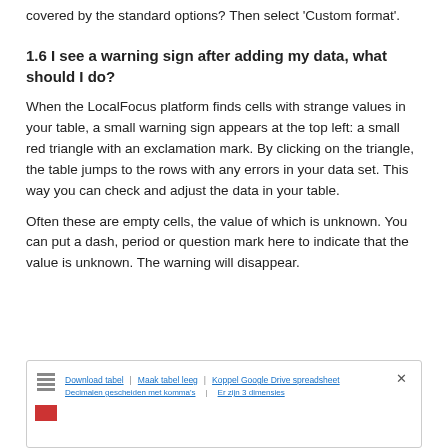covered by the standard options? Then select 'Custom format'.
1.6 I see a warning sign after adding my data, what should I do?
When the LocalFocus platform finds cells with strange values in your table, a small warning sign appears at the top left: a small red triangle with an exclamation mark. By clicking on the triangle, the table jumps to the rows with any errors in your data set. This way you can check and adjust the data in your table.
Often these are empty cells, the value of which is unknown. You can put a dash, period or question mark here to indicate that the value is unknown. The warning will disappear.
[Figure (screenshot): Screenshot of a LocalFocus table interface showing a toolbar with options: Download tabel, Maak tabel leeg, Koppel Google Drive spreadsheet, Decimalen gescheiden met komma's, Er zijn 3 dimensies. A close button (x) is visible at the top right. An icon with lines and a red icon are on the left side.]